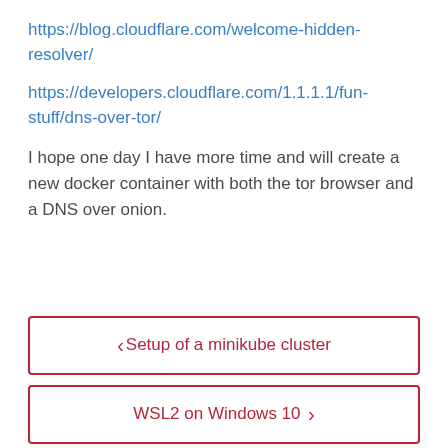https://blog.cloudflare.com/welcome-hidden-resolver/
https://developers.cloudflare.com/1.1.1.1/fun-stuff/dns-over-tor/
I hope one day I have more time and will create a new docker container with both the tor browser and a DNS over onion.
< Setup of a minikube cluster
WSL2 on Windows 10 >